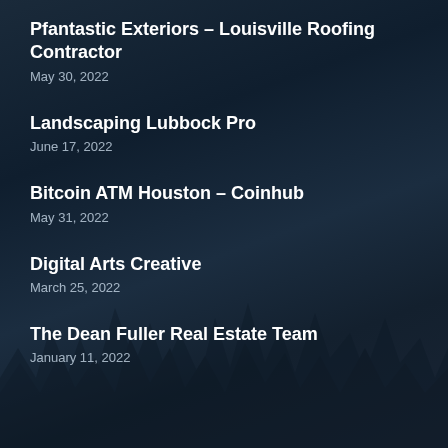[Figure (photo): Dark navy blue forest background with silhouettes of pine trees at bottom, nighttime or twilight scene]
Pfantastic Exteriors – Louisville Roofing Contractor
May 30, 2022
Landscaping Lubbock Pro
June 17, 2022
Bitcoin ATM Houston – Coinhub
May 31, 2022
Digital Arts Creative
March 25, 2022
The Dean Fuller Real Estate Team
January 11, 2022